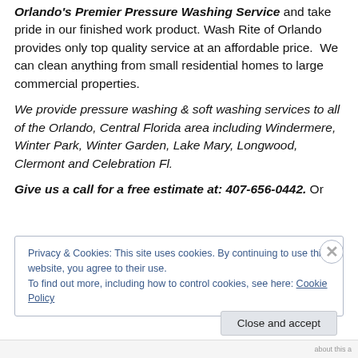Orlando's Premier Pressure Washing Service and take pride in our finished work product. Wash Rite of Orlando provides only top quality service at an affordable price. We can clean anything from small residential homes to large commercial properties.
We provide pressure washing & soft washing services to all of the Orlando, Central Florida area including Windermere, Winter Park, Winter Garden, Lake Mary, Longwood, Clermont and Celebration Fl.
Give us a call for a free estimate at: 407-656-0442. Or
Privacy & Cookies: This site uses cookies. By continuing to use this website, you agree to their use.
To find out more, including how to control cookies, see here: Cookie Policy
Close and accept